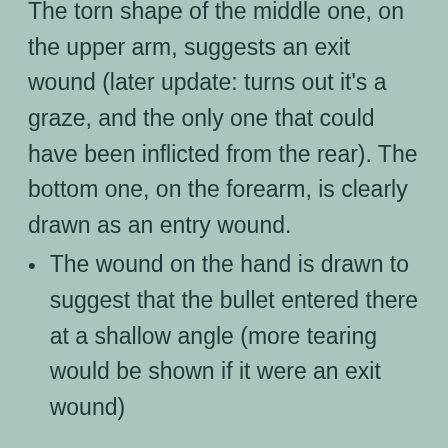The torn shape of the middle one, on the upper arm, suggests an exit wound (later update: turns out it’s a graze, and the only one that could have been inflicted from the rear). The bottom one, on the forearm, is clearly drawn as an entry wound.
The wound on the hand is drawn to suggest that the bullet entered there at a shallow angle (more tearing would be shown if it were an exit wound)
The first thing that jumps out at me is that this